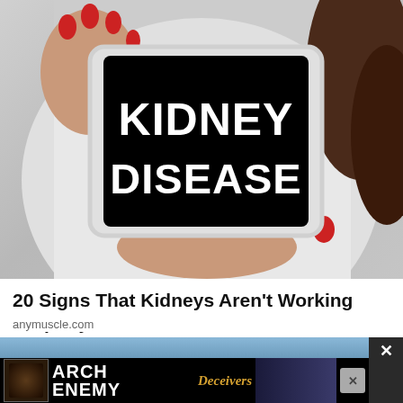[Figure (photo): A person in a white coat holding a tablet/iPad displaying the text 'KIDNEY DISEASE' in large white bold letters on a black screen. The person has red fingernails.]
20 Signs That Kidneys Aren't Working Properly
anymuscle.com
[Figure (photo): Partial view of an outdoor scene and an advertisement banner for Arch Enemy - Deceivers album, showing band logo, album art and band members photo.]